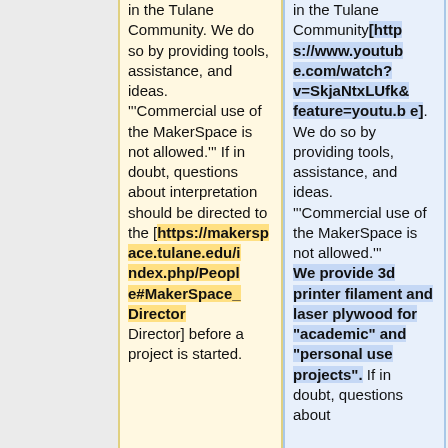in the Tulane Community. We do so by providing tools, assistance, and ideas. '''Commercial use of the MakerSpace is not allowed.'''  If in doubt, questions about interpretation should be directed to the [https://makerspace.tulane.edu/index.php/People#MakerSpace_Director Director] before a project is started.
in the Tulane Community[https://www.youtube.com/watch?v=SkjaNtxLUfk&feature=youtu.be]. We do so by providing tools, assistance, and ideas. '''Commercial use of the MakerSpace is not allowed.''' We provide 3d printer filament and laser plywood for "academic" and "personal use projects".  If in doubt, questions about